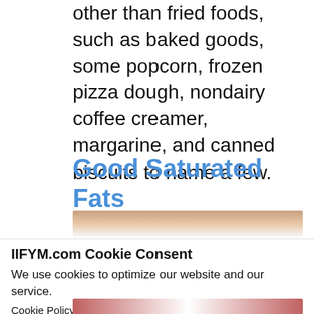other than fried foods, such as baked goods, some popcorn, frozen pizza dough, nondairy coffee creamer, margarine, and canned biscuits to name a few.
Good Saturated Fats
[Figure (photo): Partial photo of food item, cropped, appearing behind cookie consent overlay]
IIFYM.com Cookie Consent
We use cookies to optimize our website and our service.
Cookie Policy - Privacy statement
Accept
[Figure (photo): Partial photo visible at bottom of page below cookie consent banner]